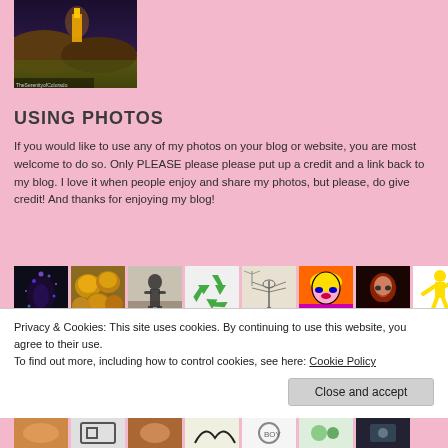[Figure (photo): Landscape photo showing rocks, golden grass, and a distant illuminated building/tower at dusk or night. Caption text visible at bottom left of image.]
USING PHOTOS
If you would like to use any of my photos on your blog or website, you are most welcome to do so. Only PLEASE please please put up a credit and a link back to my blog. I love it when people enjoy and share my photos, but please, do give credit! And thanks for enjoying my blog!
[Figure (photo): Row of thumbnail images: dark figure with sparkles, golden pastries/cookies, silhouette figure on wall, recycle symbol (green), hand-drawn dragonfly sketches, colorful pop-art woman, dark red-haired woman, yellow figure dancing]
Privacy & Cookies: This site uses cookies. By continuing to use this website, you agree to their use.
To find out more, including how to control cookies, see here: Cookie Policy
Close and accept
[Figure (photo): Row of thumbnail images at bottom of page]